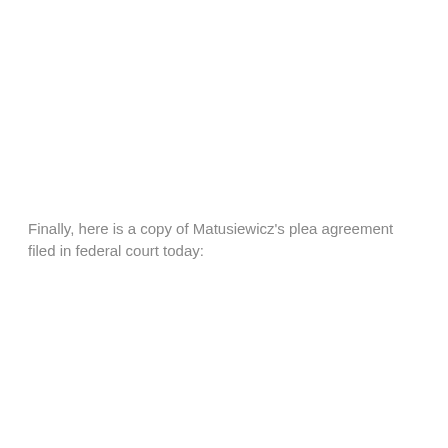Finally, here is a copy of Matusiewicz's plea agreement filed in federal court today: